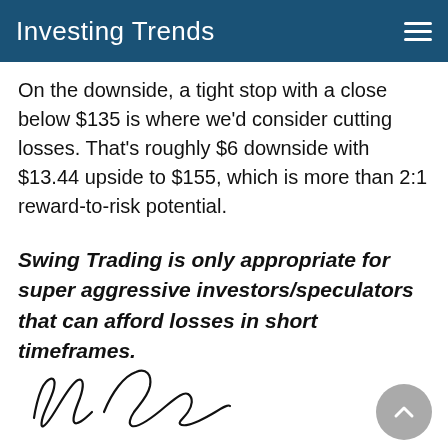Investing Trends
On the downside, a tight stop with a close below $135 is where we'd consider cutting losses. That's roughly $6 downside with $13.44 upside to $155, which is more than 2:1 reward-to-risk potential.
Swing Trading is only appropriate for super aggressive investors/speculators that can afford losses in short timeframes.
[Figure (illustration): Handwritten signature of the author]